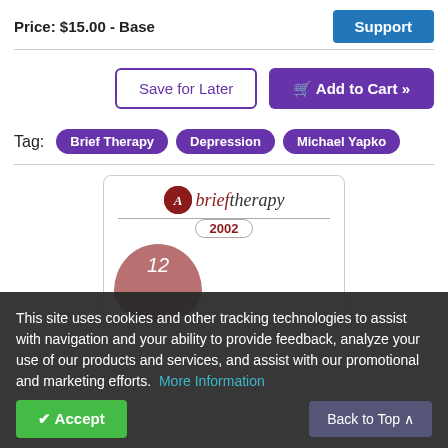Price: $15.00 - Base
Support
Save for Later
Add to Cart »
Tag: Brief Therapy  Depression  Michael Yapko
[Figure (logo): Brief Therapy 2002 conference audio product image with logo, year 2002, and number 12]
This site uses cookies and other tracking technologies to assist with navigation and your ability to provide feedback, analyze your use of our products and services, and assist with our promotional and marketing efforts. More Information
Accept
Back to Top